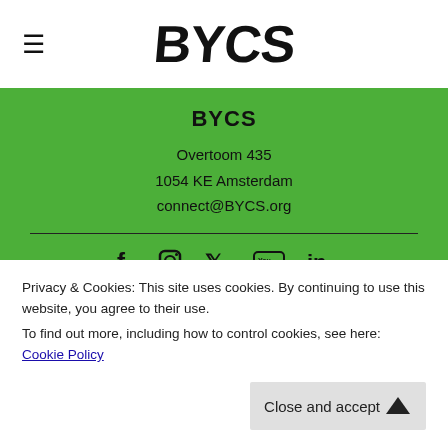BYCS
BYCS
Overtoom 435
1054 KE Amsterdam
connect@BYCS.org
[Figure (infographic): Social media icons: Facebook, Instagram, Twitter, YouTube, LinkedIn]
NEWSLETTER
Your name (input field placeholder)
Privacy & Cookies: This site uses cookies. By continuing to use this website, you agree to their use.
To find out more, including how to control cookies, see here: Cookie Policy
Close and accept